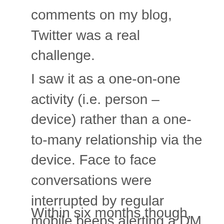comments on my blog, Twitter was a real challenge.
I saw it as a one-on-one activity (i.e. person – device) rather than a one-to-many relationship via the device. Face to face conversations were interrupted by regular mobile beeps alerting a DM (not a Deep and Meaningful, but rather a Direct Message), and in one instance I was even woken up at 3am no less, by a message alert on my partners phone. Needless to say, it didn't help the cause.
Within six months though, I'd started using Twitter